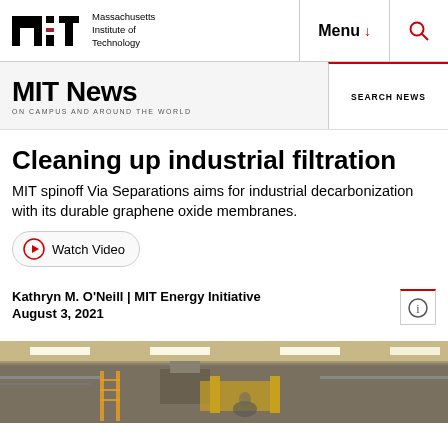Massachusetts Institute of Technology | Menu | Search
MIT News ON CAMPUS AND AROUND THE WORLD | SEARCH NEWS
Cleaning up industrial filtration
MIT spinoff Via Separations aims for industrial decarbonization with its durable graphene oxide membranes.
Watch Video
Kathryn M. O'Neill | MIT Energy Initiative
August 3, 2021
[Figure (photo): Industrial facility interior showing ceiling lights, pipes, and equipment with a worker visible in the lower portion]